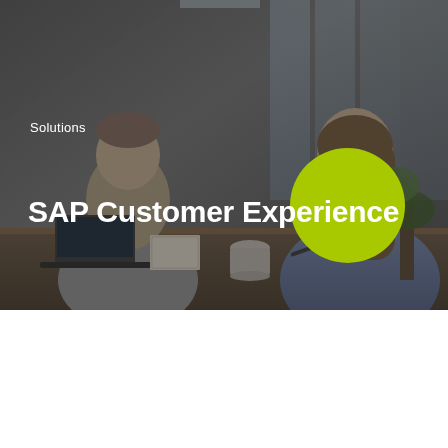[Figure (photo): Two people sitting at a table in an office setting. A man with a laptop on the left, and a woman with long hair on the right, appearing to be in a business meeting. The image has a dark overlay. A bright green circle overlaps the center-top of the title area.]
Solutions
SAP Customer Experience